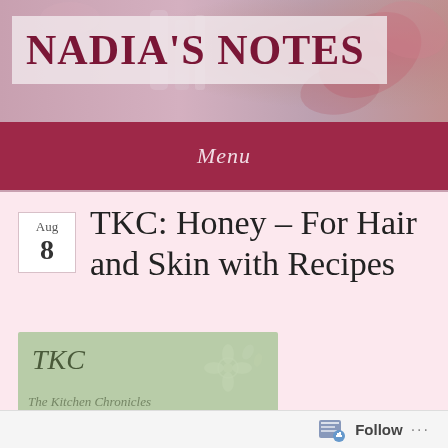NADIA'S NOTES
Menu
[Figure (other): TKC green card with floral emboss design and italic TKC text]
TKC: Honey – For Hair and Skin with Recipes
Follow ...